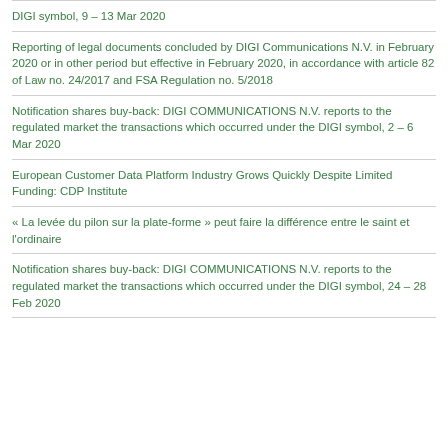DIGI symbol, 9 – 13 Mar 2020
Reporting of legal documents concluded by DIGI Communications N.V. in February 2020 or in other period but effective in February 2020, in accordance with article 82 of Law no. 24/2017 and FSA Regulation no. 5/2018
Notification shares buy-back: DIGI COMMUNICATIONS N.V. reports to the regulated market the transactions which occurred under the DIGI symbol, 2 – 6 Mar 2020
European Customer Data Platform Industry Grows Quickly Despite Limited Funding: CDP Institute
« La levée du pilon sur la plate-forme » peut faire la différence entre le saint et l'ordinaire
Notification shares buy-back: DIGI COMMUNICATIONS N.V. reports to the regulated market the transactions which occurred under the DIGI symbol, 24 – 28 Feb 2020